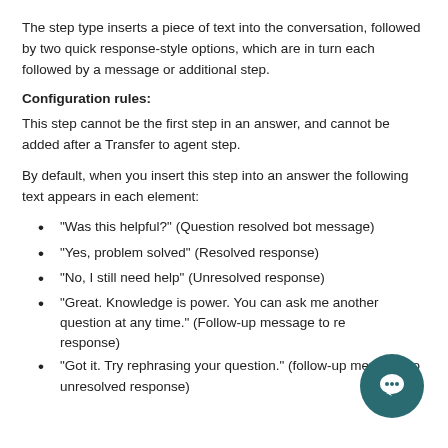The step type inserts a piece of text into the conversation, followed by two quick response-style options, which are in turn each followed by a message or additional step.
Configuration rules:
This step cannot be the first step in an answer, and cannot be added after a Transfer to agent step.
By default, when you insert this step into an answer the following text appears in each element:
“Was this helpful?” (Question resolved bot message)
“Yes, problem solved” (Resolved response)
“No, I still need help” (Unresolved response)
“Great. Knowledge is power. You can ask me another question at any time.” (Follow-up message to resolved response)
“Got it. Try rephrasing your question.” (follow-up message to unresolved response)